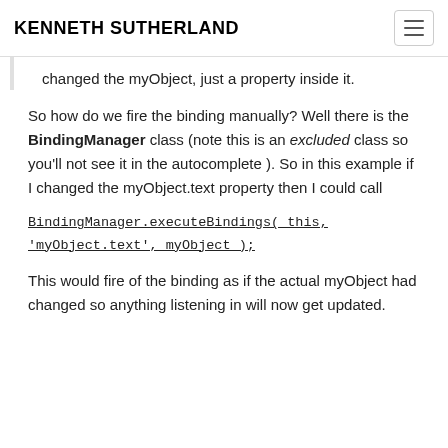KENNETH SUTHERLAND
changed the myObject, just a property inside it.
So how do we fire the binding manually? Well there is the BindingManager class (note this is an excluded class so you'll not see it in the autocomplete ). So in this example if I changed the myObject.text property then I could call
BindingManager.executeBindings( this, 'myObject.text', myObject );
This would fire of the binding as if the actual myObject had changed so anything listening in will now get updated.